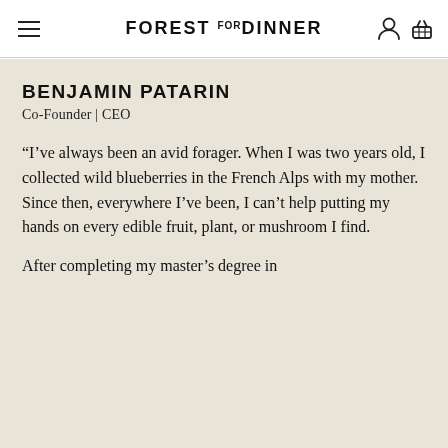FOREST FOR DINNER
BENJAMIN PATARIN
Co-Founder | CEO
“I’ve always been an avid forager. When I was two years old, I collected wild blueberries in the French Alps with my mother. Since then, everywhere I’ve been, I can’t help putting my hands on every edible fruit, plant, or mushroom I find.
After completing my master’s degree in